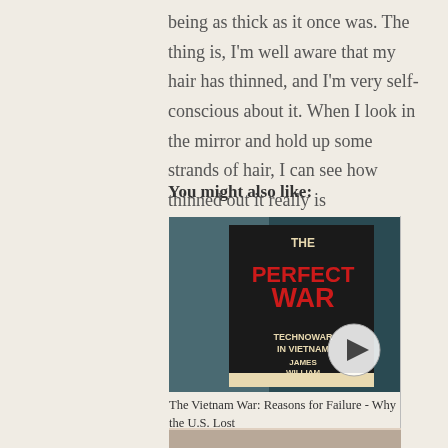being as thick as it once was. The thing is, I'm well aware that my hair has thinned, and I'm very self-conscious about it. When I look in the mirror and hold up some strands of hair, I can see how thinned out it really is
You might also like:
[Figure (photo): Book cover of 'The Perfect War: Technowar in Vietnam' by James William Gibson, held in someone's hand, with a video play button overlay]
The Vietnam War: Reasons for Failure - Why the U.S. Lost
[Figure (photo): Partially visible second recommended item image at the bottom]